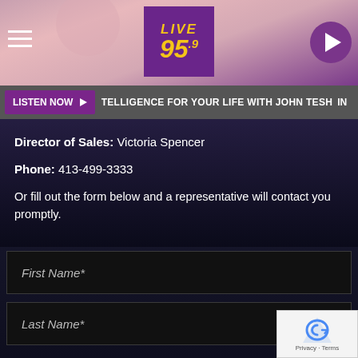LIVE 95.9
LISTEN NOW ▶  TELLIGENCE FOR YOUR LIFE WITH JOHN TESH  IN
Director of Sales: Victoria Spencer
Phone: 413-499-3333
Or fill out the form below and a representative will contact you promptly.
First Name*
Last Name*
Email*
Company
Ph